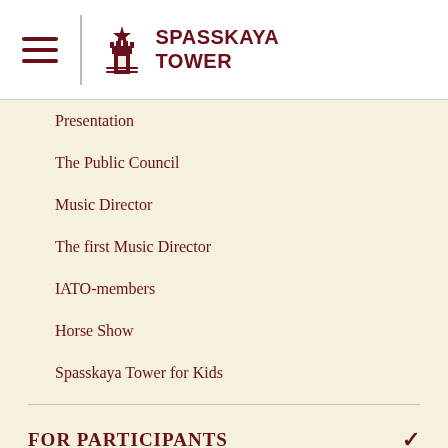Spasskaya Tower
Presentation
The Public Council
Music Director
The first Music Director
IATO-members
Horse Show
Spasskaya Tower for Kids
FOR PARTICIPANTS